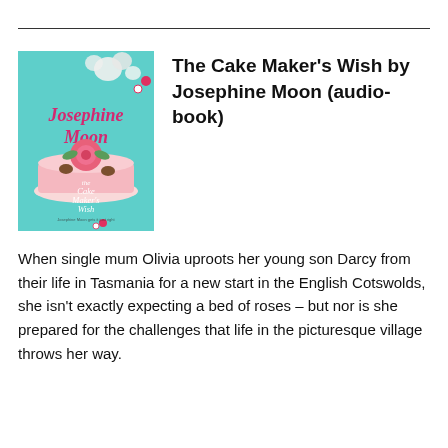[Figure (illustration): Book cover of 'The Cake Maker's Wish' by Josephine Moon, showing a decorated pink cake with roses and chocolates on a teal background with flowers]
The Cake Maker's Wish by Josephine Moon (audio-book)
When single mum Olivia uproots her young son Darcy from their life in Tasmania for a new start in the English Cotswolds, she isn't exactly expecting a bed of roses – but nor is she prepared for the challenges that life in the picturesque village throws her way.